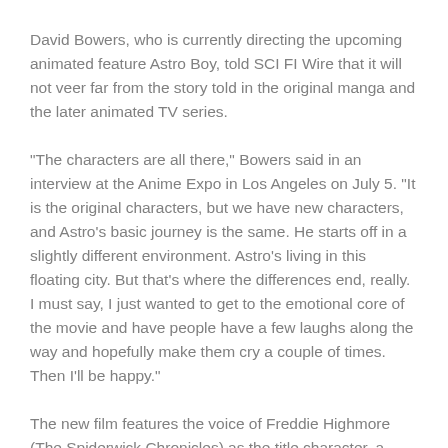David Bowers, who is currently directing the upcoming animated feature Astro Boy, told SCI FI Wire that it will not veer far from the story told in the original manga and the later animated TV series.
"The characters are all there," Bowers said in an interview at the Anime Expo in Los Angeles on July 5. "It is the original characters, but we have new characters, and Astro's basic journey is the same. He starts off in a slightly different environment. Astro's living in this floating city. But that's where the differences end, really. I must say, I just wanted to get to the emotional core of the movie and have people have a few laughs along the way and hopefully make them cry a couple of times. Then I'll be happy."
The new film features the voice of Freddie Highmore (The Spiderwick Chronicles) as the title character, a robot built by a scientist to replace his deceased son. When the scientist gives him...